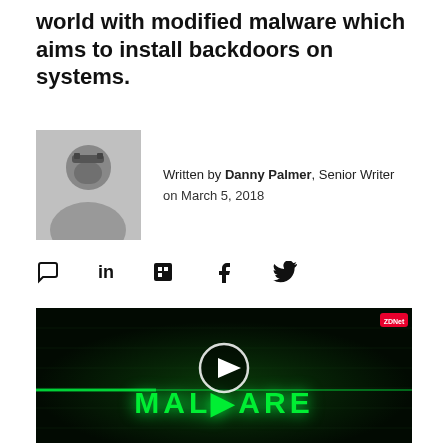world with modified malware which aims to install backdoors on systems.
Written by Danny Palmer, Senior Writer on March 5, 2018
[Figure (photo): Author photo of Danny Palmer, black and white portrait of a man wearing glasses and a plaid shirt]
[Figure (screenshot): Video thumbnail with dark green background, glowing green text reading MALWARE with a play button in the center, ZDNet logo in top right corner]